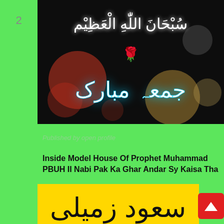2
[Figure (photo): Dark background image with colorful bokeh lights (red, orange, white circles), Arabic calligraphy text 'Subhan Allah Al-Azeem' at the top in white and 'Juma Mubarak' in glowing blue-white neon style at the bottom center, with a green rose illustration in the middle.]
Published by open profile
Inside Model House Of Prophet Muhammad PBUH II Nabi Pak Ka Ghar Andar Sy Kaisa Tha
[Figure (photo): Yellow background image with large black Arabic/Urdu text (partially visible at bottom of page).]